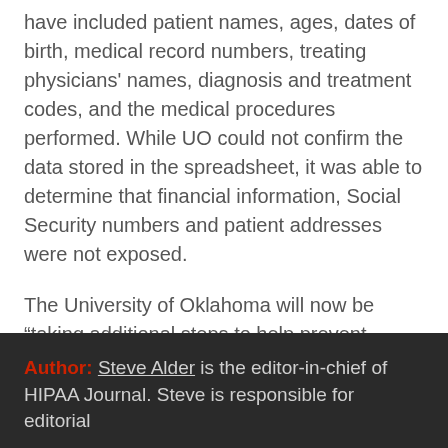have included patient names, ages, dates of birth, medical record numbers, treating physicians' names, diagnosis and treatment codes, and the medical procedures performed. While UO could not confirm the data stored in the spreadsheet, it was able to determine that financial information, Social Security numbers and patient addresses were not exposed.
The University of Oklahoma will now be “taking additional steps to help prevent similar incidents from occurring and is providing additional training to employees on the importance of securing patient information.”
Author: Steve Alder is the editor-in-chief of HIPAA Journal. Steve is responsible for editorial